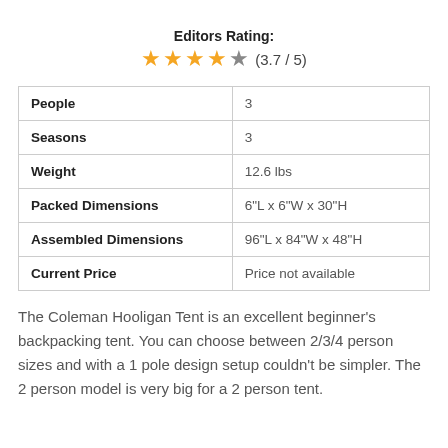[Figure (other): Star rating display showing 3.7 out of 5 stars with text 'Editors Rating:' and score '(3.7 / 5)']
| People | 3 |
| Seasons | 3 |
| Weight | 12.6 lbs |
| Packed Dimensions | 6"L x 6"W x 30"H |
| Assembled Dimensions | 96"L x 84"W x 48"H |
| Current Price | Price not available |
The Coleman Hooligan Tent is an excellent beginner's backpacking tent. You can choose between 2/3/4 person sizes and with a 1 pole design setup couldn't be simpler. The 2 person model is very big for a 2 person tent.